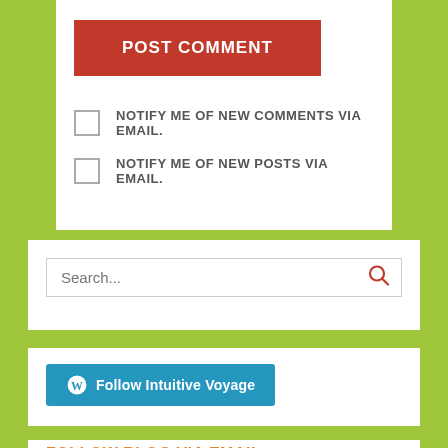[Figure (screenshot): POST COMMENT button - large red button with white bold uppercase text]
NOTIFY ME OF NEW COMMENTS VIA EMAIL.
NOTIFY ME OF NEW POSTS VIA EMAIL.
[Figure (screenshot): Search input box with placeholder text 'Search...' and a red magnifying glass icon on the right]
[Figure (screenshot): Blue WordPress Follow button with WordPress logo icon and text 'Follow Intuitive Voyage']
FOLLOW BLOG VIA EMAIL
Enter your email address to follow this blog and receive notifications of new posts by email.